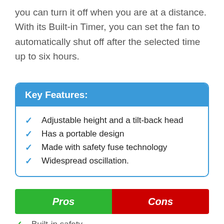you can turn it off when you are at a distance. With its Built-in Timer, you can set the fan to automatically shut off after the selected time up to six hours.
Key Features:
Adjustable height and a tilt-back head
Has a portable design
Made with safety fuse technology
Widespread oscillation.
| Pros | Cons |
| --- | --- |
Built-in safety